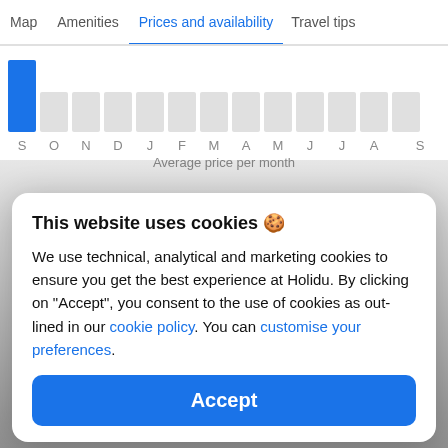Map   Amenities   Prices and availability   Travel tips
[Figure (bar-chart): Average price per month]
This website uses cookies 🍪
We use technical, analytical and marketing cookies to ensure you get the best experience at Holidu. By clicking on "Accept", you consent to the use of cookies as out-lined in our cookie policy. You can customise your preferences.